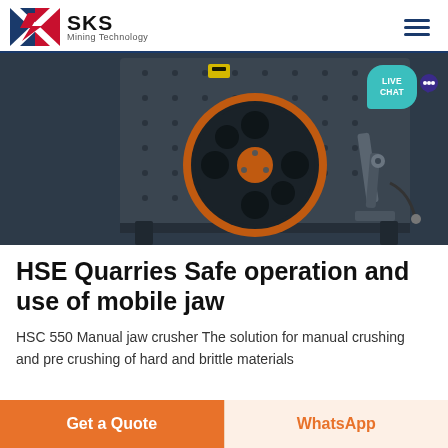SKS Mining Technology
[Figure (photo): Industrial jaw crusher machine with large black rotor/flywheel with orange ring highlight, dark metal housing with bolt patterns, mechanical linkage arms visible on the right side. Live chat bubble overlay in top right corner.]
HSE Quarries Safe operation and use of mobile jaw
HSC 550 Manual jaw crusher The solution for manual crushing and pre crushing of hard and brittle materials
Get a Quote
WhatsApp